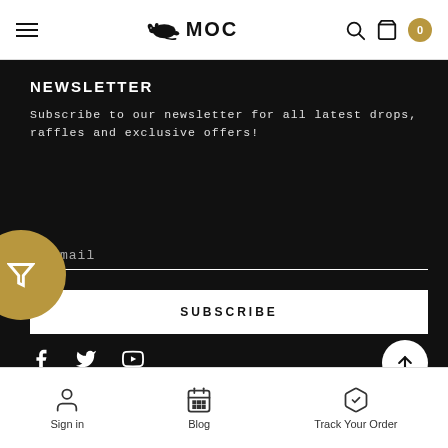MOC - header navigation with hamburger menu, logo, search, cart (0)
NEWSLETTER
Subscribe to our newsletter for all latest drops, raffles and exclusive offers!
Email input field
SUBSCRIBE button
[Figure (infographic): Social media icons: Facebook, Twitter, YouTube]
Sign in | Blog | Track Your Order